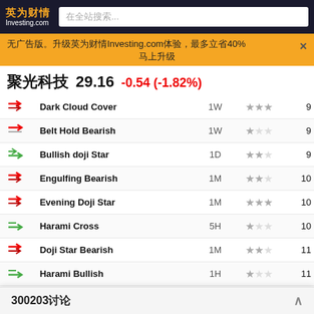英为财情 Investing.com — 在全站搜索...
无广告版。升级英为财情Investing.com体验，最多立省40% 马上升级
聚光科技 29.16 -0.54 (-1.82%)
| Icon | Pattern | Timeframe | Stars | Value |
| --- | --- | --- | --- | --- |
| ↘ | Dark Cloud Cover | 1W | ★★★ | 9 |
| ↘ | Belt Hold Bearish | 1W | ★ | 9 |
| ↗ | Bullish doji Star | 1D | ★★ | 9 |
| ↘ | Engulfing Bearish | 1M | ★★ | 10 |
| ↘ | Evening Doji Star | 1M | ★★★ | 10 |
| ↗ | Harami Cross | 5H | ★ | 10 |
| ↘ | Doji Star Bearish | 1M | ★★ | 11 |
| ↗ | Harami Bullish | 1H | ★ | 11 |
| ↗ | Harami Cross | 1H | ★ | 11 |
| ↗ | Harami Bullish | 5H | ★ | 12 |
| ↗ | Harami Cross | 5H | ★ | 12 |
| ↗ | Three Outside Up | 1H | ★★★ | 15 |
| ↘ | Falling T… |  |  |  |
| ↗ | Bullish E… |  |  |  |
300203讨论